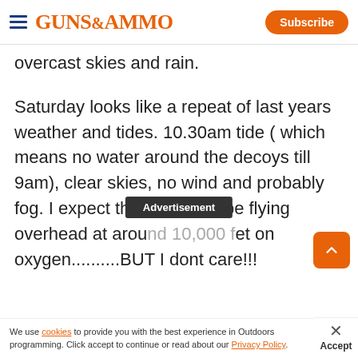GUNS&AMMO | Subscribe
overcast skies and rain.
Saturday looks like a repeat of last years weather and tides. 10.30am tide ( which means no water around the decoys till 9am), clear skies, no wind and probably fog. I expect the ducks will be flying overhead at around 10,000 feet on oxygen..........BUT I dont care!!!
We use cookies to provide you with the best experience in Outdoors programming. Click accept to continue or read about our Privacy Policy.